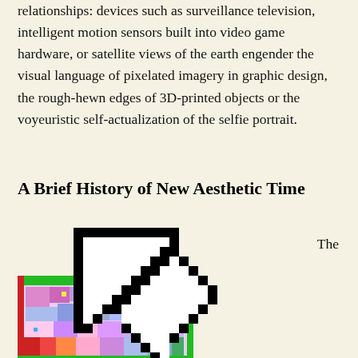relationships: devices such as surveillance television, intelligent motion sensors built into video game hardware, or satellite views of the earth engender the visual language of pixelated imagery in graphic design, the rough-hewn edges of 3D-printed objects or the voyeuristic self-actualization of the selfie portrait.
A Brief History of New Aesthetic Time
The
[Figure (illustration): A large pixelated computer cursor arrow icon overlapping a colorful pixelated abstract image in the lower left. The cursor is rendered in a blocky, pixel-art style with a thick black outline and white fill. The underlying image shows colorful pixelated patterns with greens, pinks, blues, and reds.]